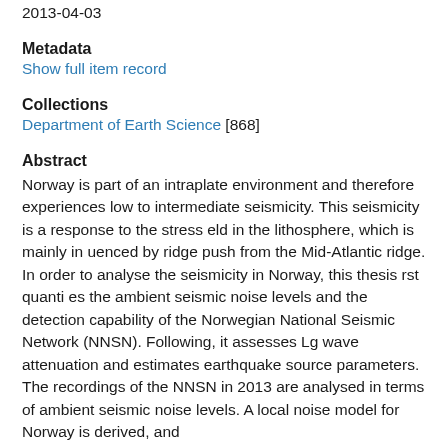2013-04-03
Metadata
Show full item record
Collections
Department of Earth Science [868]
Abstract
Norway is part of an intraplate environment and therefore experiences low to intermediate seismicity. This seismicity is a response to the stress eld in the lithosphere, which is mainly in uenced by ridge push from the Mid-Atlantic ridge. In order to analyse the seismicity in Norway, this thesis rst quanti es the ambient seismic noise levels and the detection capability of the Norwegian National Seismic Network (NNSN). Following, it assesses Lg wave attenuation and estimates earthquake source parameters. The recordings of the NNSN in 2013 are analysed in terms of ambient seismic noise levels. A local noise model for Norway is derived, and